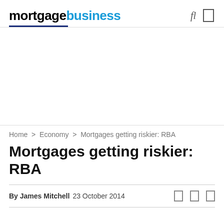mortgagebusiness
Home > Economy > Mortgages getting riskier: RBA
Mortgages getting riskier: RBA
By James Mitchell   23 October 2014